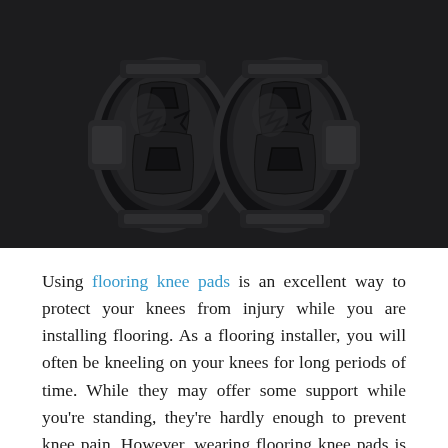[Figure (photo): Two black protective flooring knee pads with hard plastic shell covers and adjustable straps, shown side by side against a dark background.]
Using flooring knee pads is an excellent way to protect your knees from injury while you are installing flooring. As a flooring installer, you will often be kneeling on your knees for long periods of time. While they may offer some support while you're standing, they're hardly enough to prevent knee pain. However, wearing flooring knee pads is an excellent idea, especially if you're just starting out. Here's